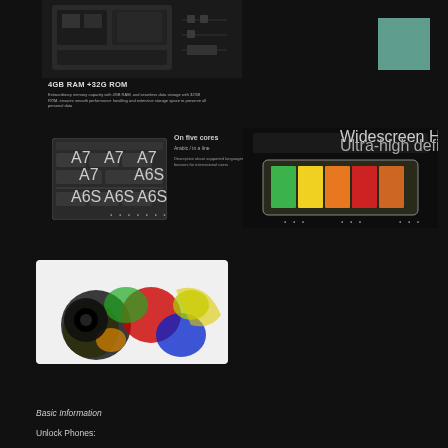[Figure (photo): Circuit board / hardware internals photo, dark background]
[Figure (illustration): Teal/green solid color square in top right corner]
4GB RAM +32G ROM
Description text about RAM and ROM specifications
[Figure (other): Language/keyboard layout grid with keys labeled A7, A7, A7, A7, A6S, A6S, A6S, A6S on dark background]
On five cores
Arabic / in a line
Small description about keyboard or language features
[Figure (photo): Colorful display screen showing rainbow gradient colors (green, yellow, orange, red) on dark background with device frame]
[Figure (photo): Camera or optical sensor image on white background showing colorful abstract bokeh pattern with red, blue, green, yellow colors]
Basic Information
Unlock Phones: